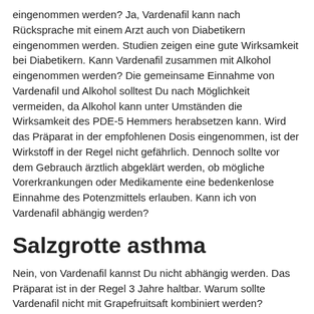eingenommen werden? Ja, Vardenafil kann nach Rücksprache mit einem Arzt auch von Diabetikern eingenommen werden. Studien zeigen eine gute Wirksamkeit bei Diabetikern. Kann Vardenafil zusammen mit Alkohol eingenommen werden? Die gemeinsame Einnahme von Vardenafil und Alkohol solltest Du nach Möglichkeit vermeiden, da Alkohol kann unter Umständen die Wirksamkeit des PDE-5 Hemmers herabsetzen kann. Wird das Präparat in der empfohlenen Dosis eingenommen, ist der Wirkstoff in der Regel nicht gefährlich. Dennoch sollte vor dem Gebrauch ärztlich abgeklärt werden, ob mögliche Vorerkrankungen oder Medikamente eine bedenkenlose Einnahme des Potenzmittels erlauben. Kann ich von Vardenafil abhängig werden?
Salzgrotte asthma
Nein, von Vardenafil kannst Du nicht abhängig werden. Das Präparat ist in der Regel 3 Jahre haltbar. Warum sollte Vardenafil nicht mit Grapefruitsaft kombiniert werden? Grapefruitsaft kann eine hemmende Wirkung auf den Stoffwechsel der Darmwand haben. Demzufolge kann die Wirkstoffaufnahme des Präparates nicht genau kalkuliert werden.